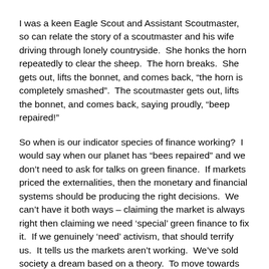I was a keen Eagle Scout and Assistant Scoutmaster, so can relate the story of a scoutmaster and his wife driving through lonely countryside.  She honks the horn repeatedly to clear the sheep.  The horn breaks.  She gets out, lifts the bonnet, and comes back, “the horn is completely smashed”.  The scoutmaster gets out, lifts the bonnet, and comes back, saying proudly, “beep repaired!”
So when is our indicator species of finance working?  I would say when our planet has “bees repaired” and we don’t need to ask for talks on green finance.  If markets priced the externalities, then the monetary and financial systems should be producing the right decisions.  We can’t have it both ways – claiming the market is always right then claiming we need ‘special’ green finance to fix it.  If we genuinely ‘need’ activism, that should terrify us.  It tells us the markets aren’t working.  We’ve sold society a dream based on a theory.  To move towards that dream we have to work together building open and competitive financial services markets that price externalities, and save the planet.